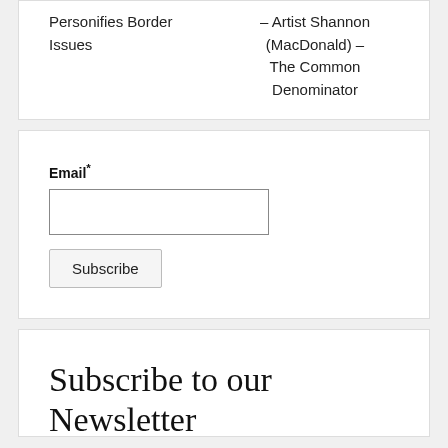Personifies Border Issues
– Artist Shannon (MacDonald) – The Common Denominator
Email *
Subscribe
Subscribe to our Newsletter